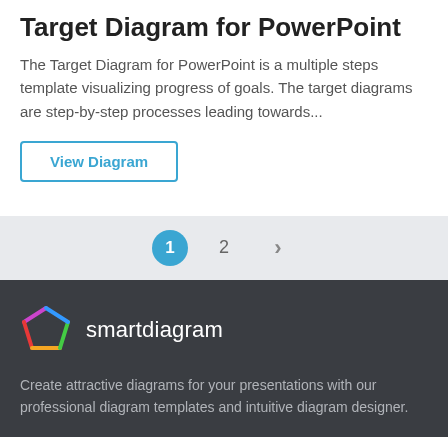Target Diagram for PowerPoint
The Target Diagram for PowerPoint is a multiple steps template visualizing progress of goals. The target diagrams are step-by-step processes leading towards...
View Diagram
1 2 ›
[Figure (logo): Smartdiagram colorful pentagon logo icon followed by the text 'smartdiagram' in white on dark background]
Create attractive diagrams for your presentations with our professional diagram templates and intuitive diagram designer.